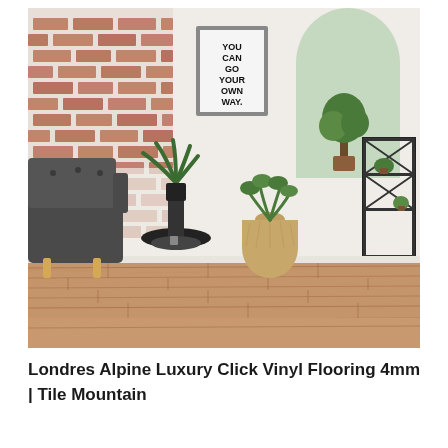[Figure (photo): A living room interior featuring luxury vinyl plank flooring in a warm medium brown wood finish. A dark grey tufted armchair sits on the left, beside a black metal side table with a fern plant. In the background, a white-painted exposed brick wall holds a framed typographic poster reading 'YOU CAN GO YOUR OWN WAY.' On the right side, a green arched alcove contains a small tree, and a black metal rolling shelf unit with small plants and decorative items stands near the wall.]
Londres Alpine Luxury Click Vinyl Flooring 4mm | Tile Mountain